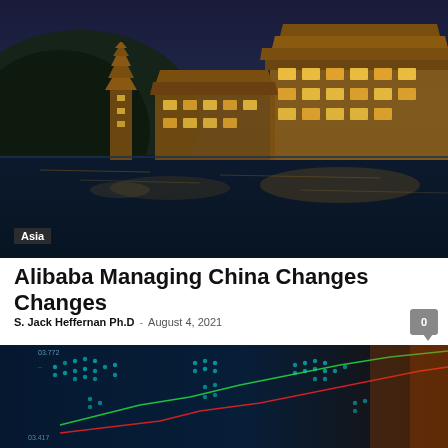[Figure (photo): Night view of illuminated traditional Chinese architecture along a river in Fenghuang Ancient Town, Asia. Buildings with yellow/golden lighting reflected in the water.]
Asia
Alibaba Managing China Changes Changes
S. Jack Heffernan Ph.D  -  August 4, 2021
[Figure (photo): Digital world map with financial stock chart overlay showing green and red trend lines on a dark blue background with glowing dots representing data points.]